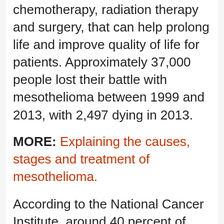chemotherapy, radiation therapy and surgery, that can help prolong life and improve quality of life for patients. Approximately 37,000 people lost their battle with mesothelioma between 1999 and 2013, with 2,497 dying in 2013.
MORE: Explaining the causes, stages and treatment of mesothelioma.
According to the National Cancer Institute, around 40 percent of mesothelioma patients will survive for at least a year following diagnosis but this drops to just 20 percent when it comes to surviving for more than two years.